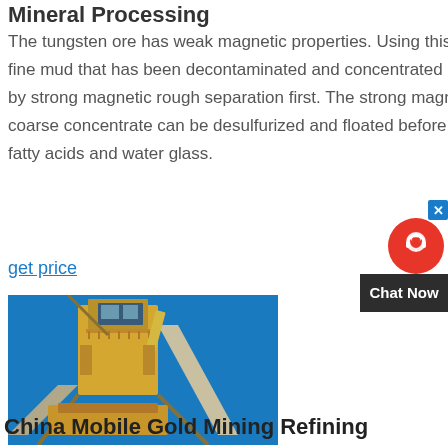Mineral Processing
The tungsten ore has weak magnetic properties. Using this point, the tungsten fine mud that has been decontaminated and concentrated can be discarded by strong magnetic rough separation first. The strong magnetic separation coarse concentrate can be desulfurized and floated before using fatty acids, light fatty acids and water glass.
get price
[Figure (photo): Yellow industrial mining processing equipment and conveyor structure photographed from below against a blue sky.]
China Mobile Gold Mining Refining